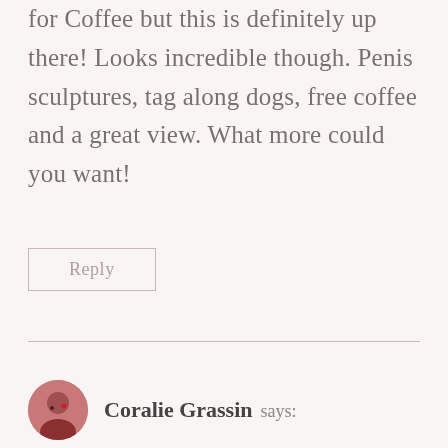for Coffee but this is definitely up there! Looks incredible though. Penis sculptures, tag along dogs, free coffee and a great view. What more could you want!
Reply
Coralie Grassin says: